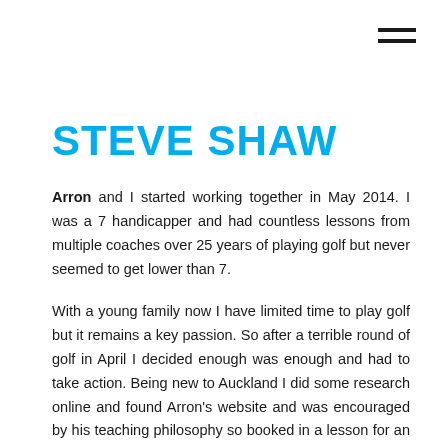[Figure (other): Hamburger menu icon — three horizontal black lines in top-right corner]
STEVE SHAW
Arron and I started working together in May 2014. I was a 7 handicapper and had countless lessons from multiple coaches over 25 years of playing golf but never seemed to get lower than 7.
With a young family now I have limited time to play golf but it remains a key passion. So after a terrible round of golf in April I decided enough was enough and had to take action. Being new to Auckland I did some research online and found Arron's website and was encouraged by his teaching philosophy so booked in a lesson for an hour.
What impressed me first was Arron was more interested in